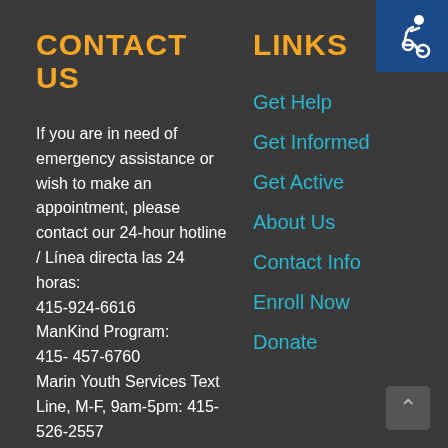[Figure (logo): Circular accessibility/organization logo icon, white on dark blue background, top right corner]
CONTACT US
LINKS
If you are in need of emergency assistance or wish to make an appointment, please contact our 24-hour hotline / Línea directa las 24 horas: 415-924-6616 ManKind Program: 415- 457-6760 Marin Youth Services Text Line, M-F, 9am-5pm: 415-526-2557
Get Help
Get Informed
Get Active
About Us
Contact Info
Enroll Now
Donate